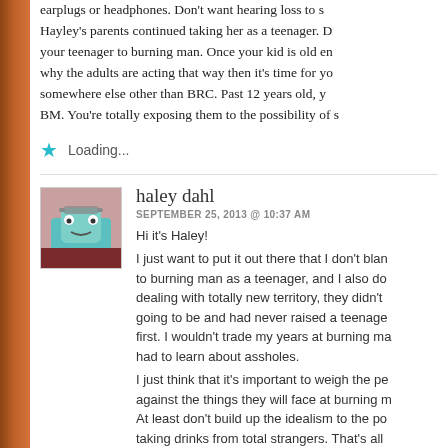earplugs or headphones. Don't want hearing loss to s... Hayley's parents continued taking her as a teenager. D... your teenager to burning man. Once your kid is old en... why the adults are acting that way then it's time for yo... somewhere else other than BRC. Past 12 years old, y... BM. You're totally exposing them to the possibility of s...
Loading...
haley dahl
SEPTEMBER 25, 2013 @ 10:37 AM
Hi it's Haley!
I just want to put it out there that I don't blan... to burning man as a teenager, and I also do... dealing with totally new territory, they didn't... going to be and had never raised a teenage... first. I wouldn't trade my years at burning ma... had to learn about assholes.
I just think that it's important to weigh the pe... against the things they will face at burning m... At least don't build up the idealism to the po... taking drinks from total strangers. That's all